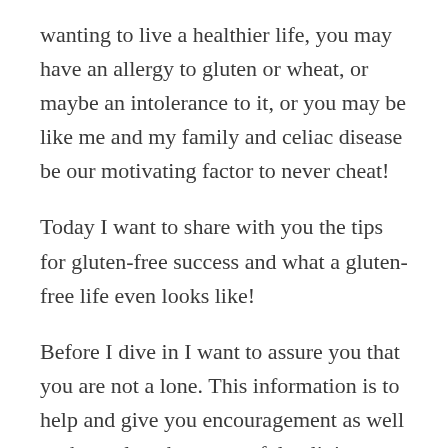wanting to live a healthier life, you may have an allergy to gluten or wheat, or maybe an intolerance to it, or you may be like me and my family and celiac disease be our motivating factor to never cheat!
Today I want to share with you the tips for gluten-free success and what a gluten-free life even looks like!
Before I dive in I want to assure you that you are not a lone. This information is to help and give you encouragement as well as the tools to be successful at living a gluten-free lifestyle. Today I will walk you through the basics, to set